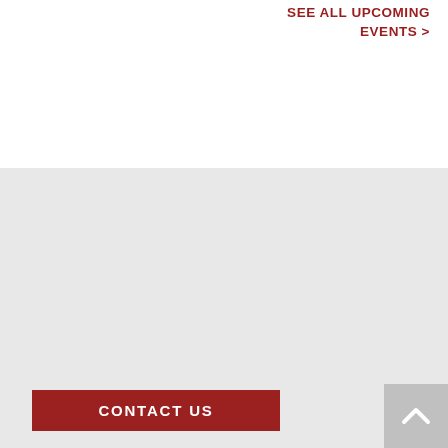SEE ALL UPCOMING EVENTS >
CONTACT US
BOOKSHOP SANTA CRUZ
1520 PACIFIC AVENUE
SANTA CRUZ, CA 95060
HOURS: 9AM-9PM DAILY
TEL: 831-423-0900
CONTACT US